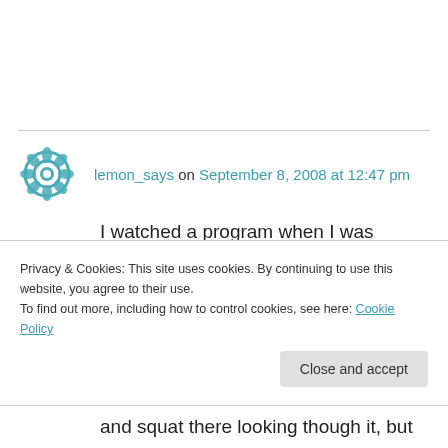lemon_says on September 8, 2008 at 12:47 pm
I watched a program when I was pregnant with Monster that explained that parents always watch for classic crawling and worry if the kid doesn't do it, but there are about 10 different recognized locomotion methods among babies, and all of them are developmentally relevant.
Privacy & Cookies: This site uses cookies. By continuing to use this website, you agree to their use. To find out more, including how to control cookies, see here: Cookie Policy
Close and accept
and squat there looking though it, but she